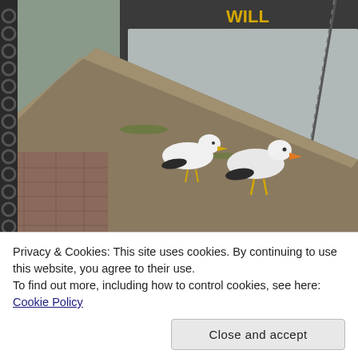[Figure (photo): Two seagulls standing on a stone harbour wall beside moored boats at Ipswich Waterfront. A large dark-hulled vessel with yellow lettering is visible in the background. Brick paving and dark water are also visible.]
Privacy & Cookies: This site uses cookies. By continuing to use this website, you agree to their use.
To find out more, including how to control cookies, see here: Cookie Policy
Close and accept
turned up and tied up on the Ipswich Waterfront.